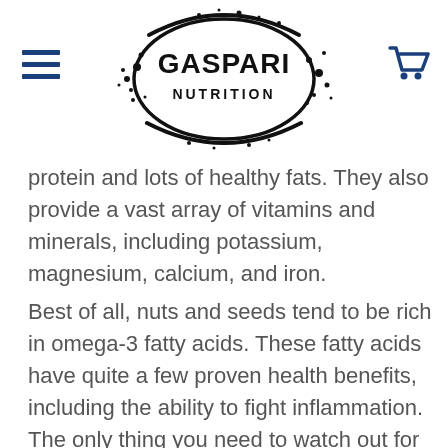[Figure (logo): Gaspari Nutrition logo — black oval with splatter ink effects, bold text GASPARI NUTRITION inside]
protein and lots of healthy fats. They also provide a vast array of vitamins and minerals, including potassium, magnesium, calcium, and iron.
Best of all, nuts and seeds tend to be rich in omega-3 fatty acids. These fatty acids have quite a few proven health benefits, including the ability to fight inflammation. The only thing you need to watch out for when using nuts in your diet is their high